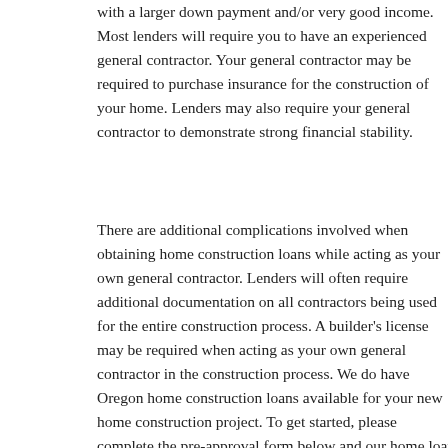with a larger down payment and/or very good income. Most lenders will require you to have an experienced general contractor. Your general contractor may be required to purchase insurance for the construction of your home. Lenders may also require your general contractor to demonstrate strong financial stability.
There are additional complications involved when obtaining home construction loans while acting as your own general contractor. Lenders will often require additional documentation on all contractors being used for the entire construction process. A builder's license may be required when acting as your own general contractor in the construction process. We do have Oregon home construction loans available for your new home construction project. To get started, please complete the pre-approval form below and our home loan specialists will contact you.